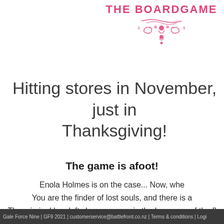THE BOARDGAME
Hitting stores in November, just in time for Thanksgiving!
The game is afoot!
Enola Holmes is on the case... Now, whe
You are the finder of lost souls, and there is a
The criminal has left clues, a cyper in the language of the fl Victorians for passing hidden comm scattered across London. If only you can s
Gale Force Nine | GF9 2021 | customerservice@battlefront.co.nz | Terms & conditions | Logi